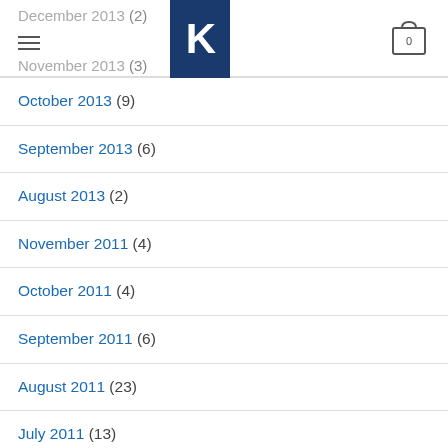December 2013 (2) | November 2013 (3) [K logo] [cart 0]
October 2013 (9)
September 2013 (6)
August 2013 (2)
November 2011 (4)
October 2011 (4)
September 2011 (6)
August 2011 (23)
July 2011 (13)
June 2011 (3)
May 2011 (1)